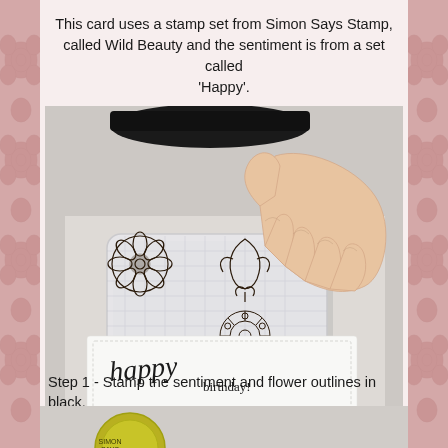This card uses a stamp set from Simon Says Stamp, called Wild Beauty and the sentiment is from a set called 'Happy'.
[Figure (photo): A hand holding a clear acrylic stamp block with four flower/nature stamp images on it, positioned over a white card that reads 'happy birthday!' in handwritten script. A black ink pad is visible in the background.]
Step 1 - Stamp the sentiment and flower outlines in black.
[Figure (photo): Bottom strip showing a partial view of what appears to be a circular logo or stamp item.]